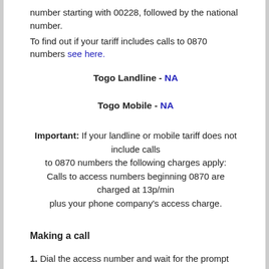number starting with 00228, followed by the national number.
To find out if your tariff includes calls to 0870 numbers see here.
Togo Landline - NA
Togo Mobile - NA
Important: If your landline or mobile tariff does not include calls to 0870 numbers the following charges apply:
Calls to access numbers beginning 0870 are charged at 13p/min plus your phone company's access charge.
Making a call
1. Dial the access number and wait for the prompt
2. Enter your Togo number beginning 00228
It's as simple as that!